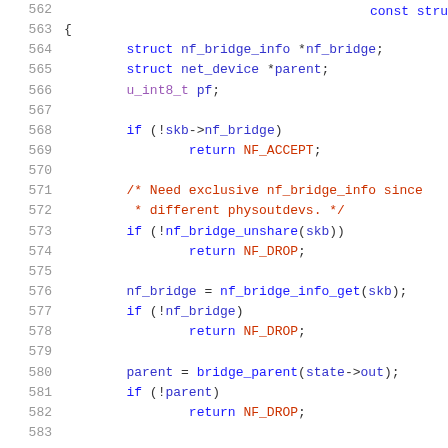[Figure (screenshot): Source code listing showing C code lines 562-583, with line numbers in gray, keywords in blue, comments in red/orange, and identifiers in blue/purple, on white background.]